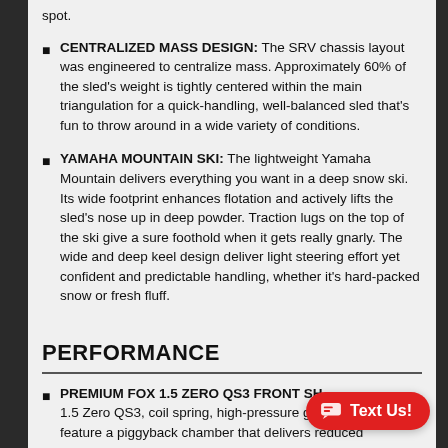CENTRALIZED MASS DESIGN: The SRV chassis layout was engineered to centralize mass. Approximately 60% of the sled's weight is tightly centered within the main triangulation for a quick-handling, well-balanced sled that's fun to throw around in a wide variety of conditions.
YAMAHA MOUNTAIN SKI: The lightweight Yamaha Mountain delivers everything you want in a deep snow ski. Its wide footprint enhances flotation and actively lifts the sled's nose up in deep powder. Traction lugs on the top of the ski give a sure foothold when it gets really gnarly. The wide and deep keel design deliver light steering effort yet confident and predictable handling, whether it's hard-packed snow or fresh fluff.
PERFORMANCE
PREMIUM FOX 1.5 ZERO QS3 FRONT SH... 1.5 Zero QS3, coil spring, high-pressure ga... feature a piggyback chamber that delivers reduced